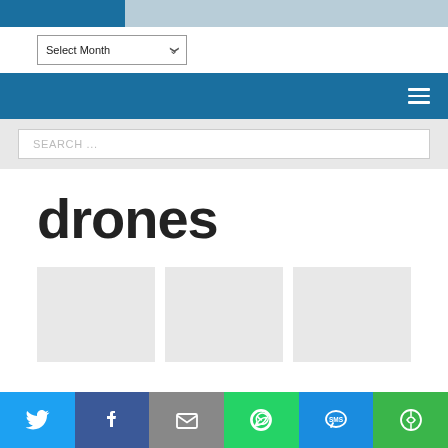[Figure (screenshot): Top banner with dark blue section on the left and light blue on the right]
[Figure (screenshot): Dropdown select element labeled Select Month]
[Figure (screenshot): Dark blue navigation bar with hamburger menu icon on right]
[Figure (screenshot): Search bar with placeholder text SEARCH ...]
drones
[Figure (screenshot): Three gray image placeholder boxes in a row]
[Figure (screenshot): Social sharing bar with Twitter, Facebook, Email, WhatsApp, SMS, and More buttons]